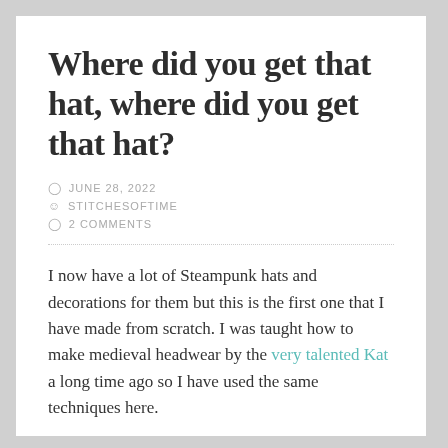Where did you get that hat, where did you get that hat?
JUNE 28, 2022
STITCHESOFTIME
2 COMMENTS
I now have a lot of Steampunk hats and decorations for them but this is the first one that I have made from scratch. I was taught how to make medieval headwear by the very talented Kat a long time ago so I have used the same techniques here.
I was aiming for a small pill box type hat so first cut